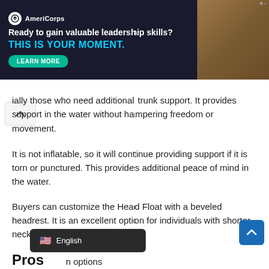[Figure (other): AmeriCorps advertisement banner: 'Ready to gain valuable leadership skills? THIS IS YOUR MOMENT.' with a LEARN MORE button and photo of people in background.]
ially those who need additional trunk support. It provides support in the water without hampering freedom or movement.
It is not inflatable, so it will continue providing support if it is torn or punctured. This provides additional peace of mind in the water.
Buyers can customize the Head Float with a beveled headrest. It is an excellent option for individuals with shorter necks.
Pros
Help keep head above the water
Provides support without straining neck
Allows swimmer to maintain independent movement o
n options